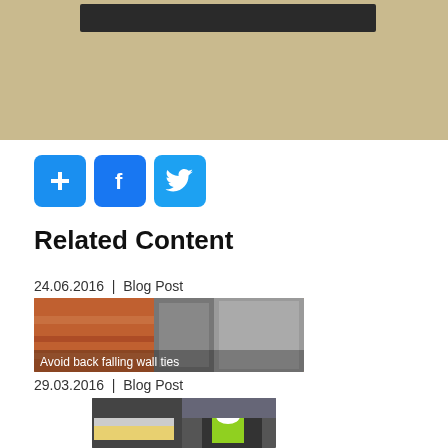[Figure (photo): Top banner area with dark header bar on tan/khaki background]
[Figure (infographic): Three blue social media icon buttons: plus/add, Facebook, Twitter]
Related Content
24.06.2016  |  Blog Post
[Figure (photo): Close-up photo of brick wall cross-section showing wall ties and insulation. Caption reads: Avoid back falling wall ties]
Avoid back falling wall ties
29.03.2016  |  Blog Post
[Figure (photo): Construction site photo showing insulation panels and a worker in hi-vis jacket and hard hat]